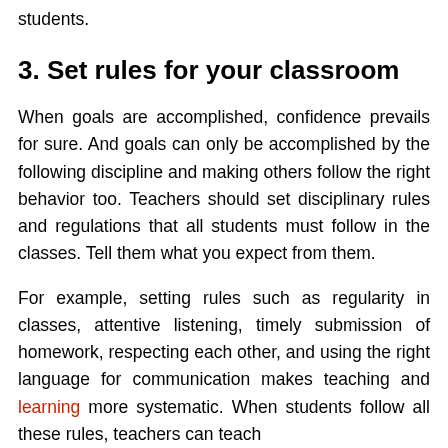students.
3. Set rules for your classroom
When goals are accomplished, confidence prevails for sure. And goals can only be accomplished by the following discipline and making others follow the right behavior too. Teachers should set disciplinary rules and regulations that all students must follow in the classes. Tell them what you expect from them.
For example, setting rules such as regularity in classes, attentive listening, timely submission of homework, respecting each other, and using the right language for communication makes teaching and learning more systematic. When students follow all these rules, teachers can teach more effectively and students learn better.